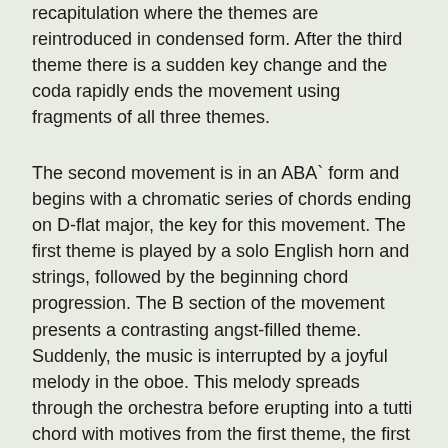recapitulation where the themes are reintroduced in condensed form. After the third theme there is a sudden key change and the coda rapidly ends the movement using fragments of all three themes.
The second movement is in an ABA` form and begins with a chromatic series of chords ending on D-flat major, the key for this movement. The first theme is played by a solo English horn and strings, followed by the beginning chord progression. The B section of the movement presents a contrasting angst-filled theme. Suddenly, the music is interrupted by a joyful melody in the oboe. This melody spreads through the orchestra before erupting into a tutti chord with motives from the first theme, the first theme from the prior movement, and the third theme from the prior movement all intertwined. This quiets before recapping the A section. This time, the second part of the A theme is reduced to ten strings. The return of the first part is reduced to a trio of violin, viola, and cello; which then expands to include all of the strings. The first violins play a rambling pentatonic scale which leads back to the initial chord progression, ending the movement on a quiet major chord.